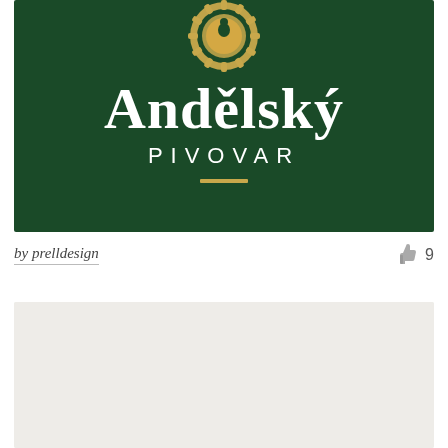[Figure (logo): Andělský Pivovar brewery logo on dark green background. Gold ornamental emblem at top, large white serif text 'Andělský' and spaced capitals 'PIVOVAR' below, with a small gold horizontal bar accent.]
by prelldesign
9
[Figure (photo): Light grey/beige blank placeholder image block, second content image partially visible.]